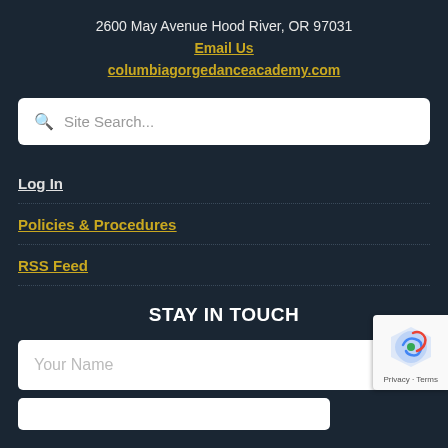2600 May Avenue Hood River, OR 97031
Email Us
columbiagorgedanceacademy.com
[Figure (other): Site search input field with magnifying glass icon and placeholder text 'Site Search...']
Log In
Policies & Procedures
RSS Feed
STAY IN TOUCH
[Figure (other): Your Name input text field]
[Figure (other): Second partially visible input text field]
[Figure (other): reCAPTCHA badge with Google logo showing Privacy and Terms text]